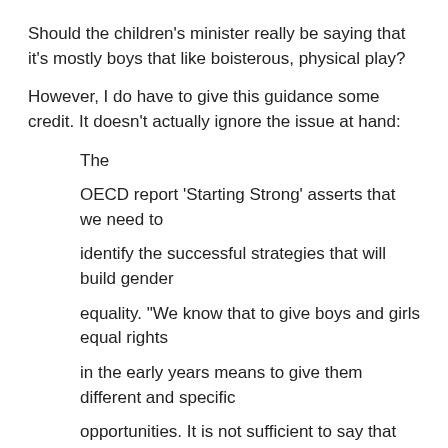Should the children's minister really be saying that it's mostly boys that like boisterous, physical play?
However, I do have to give this guidance some credit. It doesn't actually ignore the issue at hand:
The
OECD report 'Starting Strong' asserts that we need to
identify the successful strategies that will build gender
equality. "We know that to give boys and girls equal rights
in the early years means to give them different and specific
opportunities. It is not sufficient to say that everything…
is open to all children, since at this age children